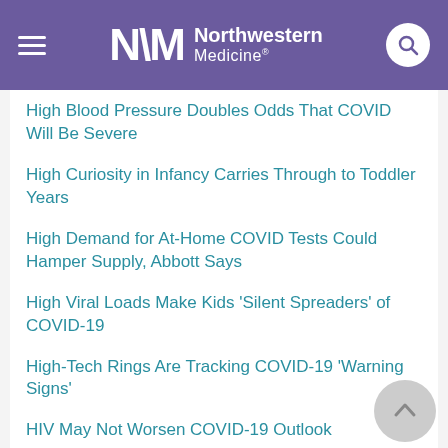Northwestern Medicine
High Blood Pressure Doubles Odds That COVID Will Be Severe
High Curiosity in Infancy Carries Through to Toddler Years
High Demand for At-Home COVID Tests Could Hamper Supply, Abbott Says
High Viral Loads Make Kids 'Silent Spreaders' of COVID-19
High-Tech Rings Are Tracking COVID-19 'Warning Signs'
HIV May Not Worsen COVID-19 Outlook
Holidays Can Be a Fright for Kids With Food Allergies